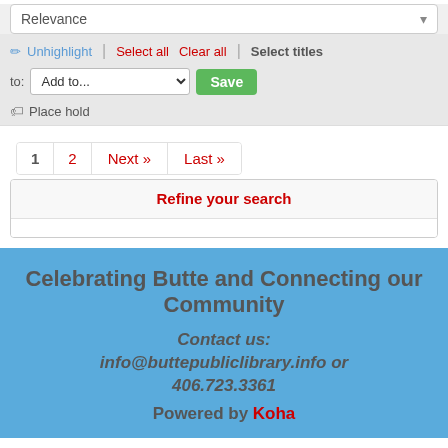Relevance
✏ Unhighlight | Select all  Clear all | Select titles
to: Add to... [Save]
🏷 Place hold
1  2  Next »  Last »
Refine your search
Celebrating Butte and Connecting our Community
Contact us:
info@buttepubliclibrary.info or
406.723.3361
Powered by Koha